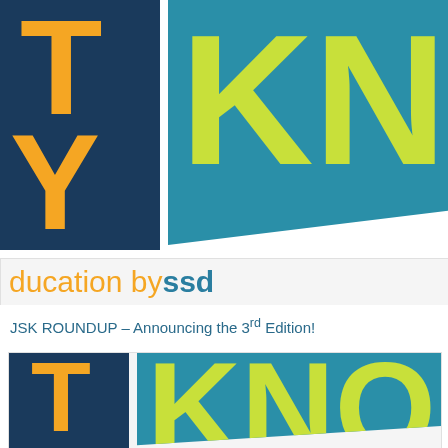[Figure (logo): Cropped logo showing partial letters 'T' and 'Y' in orange on dark navy background on the left, and 'KNO' in yellow-green on teal background on the right, partially visible. Below is text 'ducation by ssd' in orange and teal/blue.]
JSK ROUNDUP – Announcing the 3rd Edition!
[Figure (logo): Smaller version of the same logo — partial letters 'T' in orange on navy, and 'KNO' in yellow-green on teal background.]